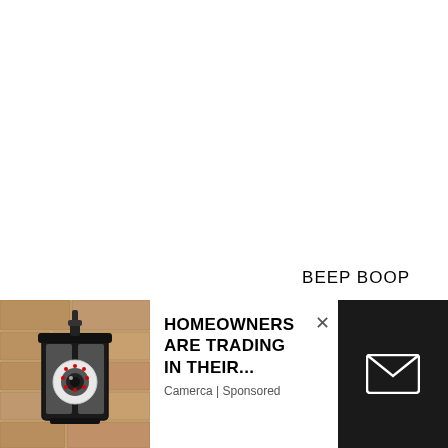BEEP BOOP
CatCo. Cat gets into her car, which suddenly lurches into the air. Kara places it gently on top of a
[Figure (screenshot): Advertisement overlay showing a security camera light bulb product in a lantern on a stone wall. Ad title: HOMEOWNERS ARE TRADING IN THEIR... Source: Camerca | Sponsored. Has a close (×) button and a dark panel on the right with an email envelope icon.]